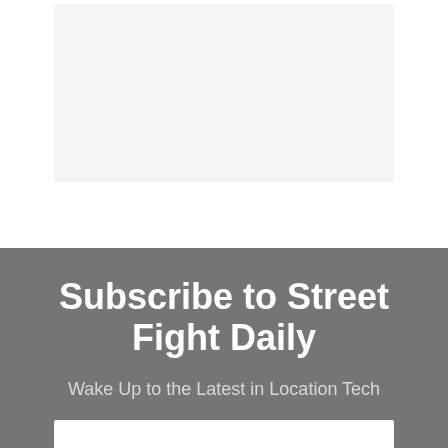[Figure (other): Light gray rectangular placeholder image area at top center of page]
Subscribe to Street Fight Daily
Wake Up to the Latest in Location Tech